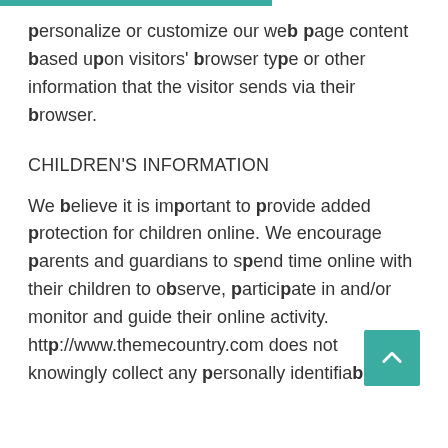personalize or customize our web page content based upon visitors' browser type or other information that the visitor sends via their browser.
CHILDREN'S INFORMATION
We believe it is important to provide added protection for children online. We encourage parents and guardians to spend time online with their children to observe, participate in and/or monitor and guide their online activity. http://www.themecountry.com does not knowingly collect any personally identifiable